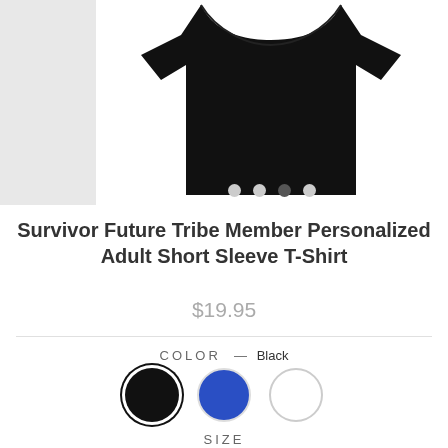[Figure (photo): Product image of a black t-shirt on white background with gray left panel, carousel with 4 dots (3rd active)]
Survivor Future Tribe Member Personalized Adult Short Sleeve T-Shirt
$19.95
COLOR — Black
[Figure (other): Three color swatches: Black (selected with ring), Blue, White]
SIZE
SM  M  L  XL  XXL  XXXL size buttons with SM selected in blue